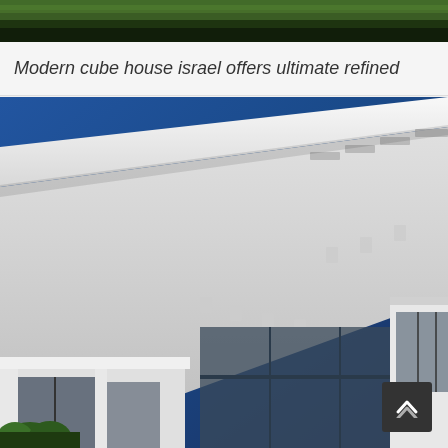[Figure (photo): Narrow strip of green grass and dark ground at the very top of the page, partial view of outdoor scene]
Modern cube house israel offers ultimate refined
[Figure (photo): Exterior architectural photograph of a modern white cube house in Israel. The image shows a dramatic low-angle view of the building's cantilevered white roof/overhang against a deep blue sky. The lower portion shows a glass facade with dark aluminum framing and a white cubic entrance structure. Green trees are visible at the bottom left corner. A scroll-to-top button is visible in the bottom right corner.]